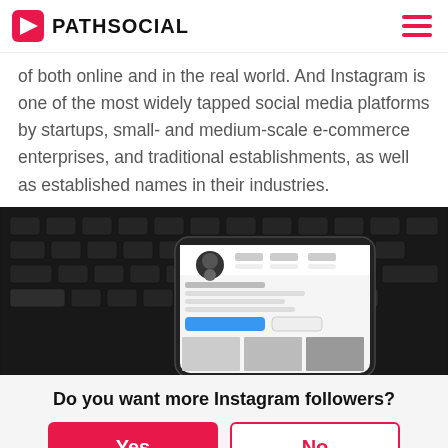PATHSOCIAL
of both online and in the real world. And Instagram is one of the most widely tapped social media platforms by startups, small- and medium-scale e-commerce enterprises, and traditional establishments, as well as established names in their industries.
[Figure (photo): A smartphone on a dark keyboard showing an Instagram profile page]
Do you want more Instagram followers?
Yes
No